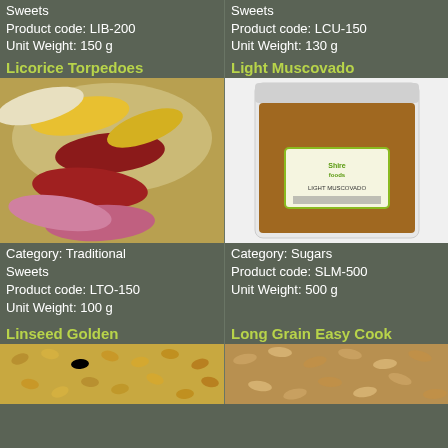Sweets
Product code: LIB-200
Unit Weight: 150 g
Sweets
Product code: LCU-150
Unit Weight: 130 g
Licorice Torpedoes
Light Muscovado
[Figure (photo): Photo of colorful licorice torpedoes — yellow, red, and pink candy shapes]
[Figure (photo): Photo of a clear bag of Light Muscovado sugar with Shire Foods label]
Category: Traditional Sweets
Product code: LTO-150
Unit Weight: 100 g
Category: Sugars
Product code: SLM-500
Unit Weight: 500 g
Linseed Golden
Long Grain Easy Cook
[Figure (photo): Photo of golden linseed seeds]
[Figure (photo): Photo of long grain easy cook rice]